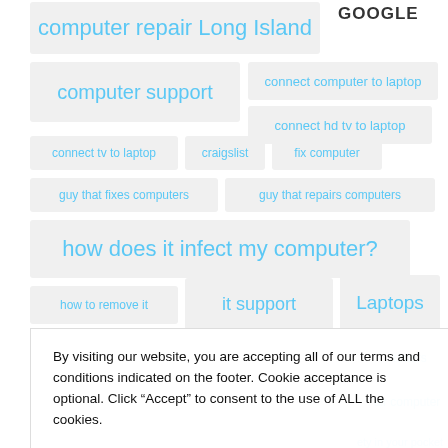[Figure (infographic): Tag cloud of computer-related search terms with varying font sizes in blue on light grey pill-shaped backgrounds, plus a Google logo in the top right.]
By visiting our website, you are accepting all of our terms and conditions indicated on the footer. Cookie acceptance is optional. Click “Accept” to consent to the use of ALL the cookies.
Cookie settings
ACCEPT